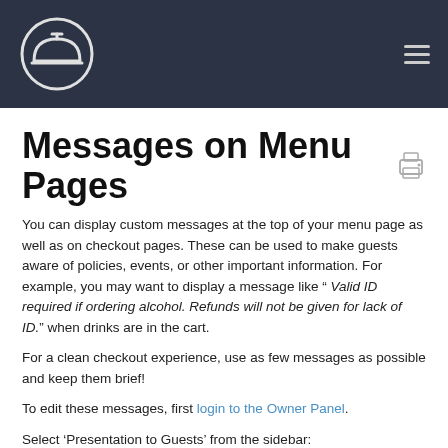Messages on Menu Pages — site header with logo and navigation
Messages on Menu Pages
You can display custom messages at the top of your menu page as well as on checkout pages. These can be used to make guests aware of policies, events, or other important information. For example, you may want to display a message like " Valid ID required if ordering alcohol. Refunds will not be given for lack of ID." when drinks are in the cart.
For a clean checkout experience, use as few messages as possible and keep them brief!
To edit these messages, first login to the Owner Panel.
Select 'Presentation to Guests' from the sidebar: